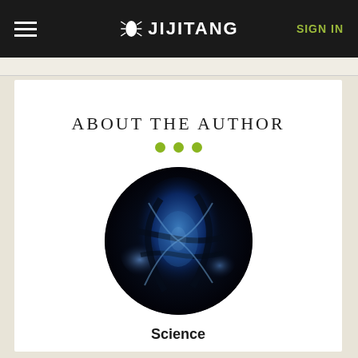JIJITANG  SIGN IN
ABOUT THE AUTHOR
[Figure (photo): Circular author profile image showing a dark blue glowing biological or scientific subject on black background]
Science